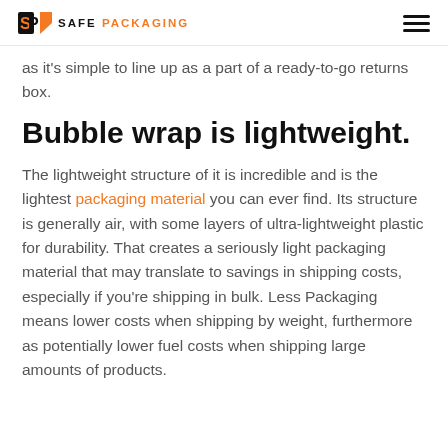Safe Packaging logo and navigation
as it's simple to line up as a part of a ready-to-go returns box.
Bubble wrap is lightweight.
The lightweight structure of it is incredible and is the lightest packaging material you can ever find. Its structure is generally air, with some layers of ultra-lightweight plastic for durability. That creates a seriously light packaging material that may translate to savings in shipping costs, especially if you're shipping in bulk. Less Packaging means lower costs when shipping by weight, furthermore as potentially lower fuel costs when shipping large amounts of products.